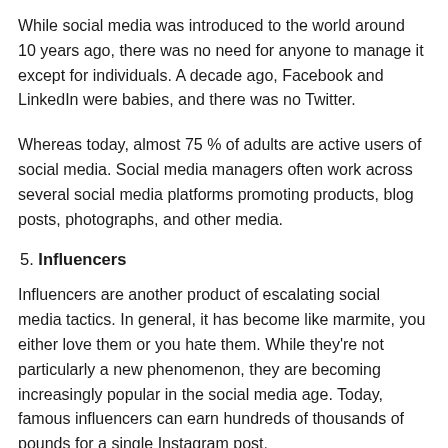While social media was introduced to the world around 10 years ago, there was no need for anyone to manage it except for individuals. A decade ago, Facebook and LinkedIn were babies, and there was no Twitter.
Whereas today, almost 75 % of adults are active users of social media. Social media managers often work across several social media platforms promoting products, blog posts, photographs, and other media.
5. Influencers
Influencers are another product of escalating social media tactics. In general, it has become like marmite, you either love them or you hate them. While they're not particularly a new phenomenon, they are becoming increasingly popular in the social media age. Today, famous influencers can earn hundreds of thousands of pounds for a single Instagram post.